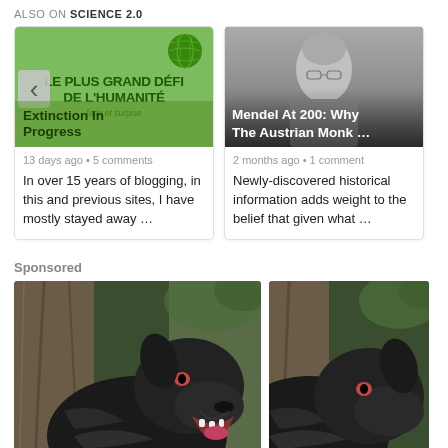ALSO ON SCIENCE 2.0
[Figure (illustration): Article card: green background with globe icon, text 'LE PLUS GRAND DÉFI' and 'Extinction In Progress', 'HUMANITÉ' label. Overlapping left arrow button.]
13 days ago • 5 comments
In over 15 years of blogging, in this and previous sites, I have mostly stayed away …
[Figure (photo): Black and white photo of a man (Mendel) with overlay text: 'Mendel At 200: Why The Austrian Monk …']
2 months ago • 1 comment
Newly-discovered historical information adds weight to the belief that given what …
Sponsored
[Figure (photo): Photo of a large black dog (Cane Corso) facing right, outdoors with trees in background]
[Figure (photo): Partial photo of same dog, cropped on right side]